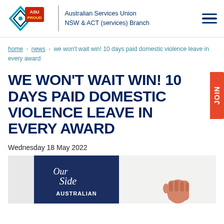Australian Services Union NSW & ACT (services) Branch
home > news > we won't wait win! 10 days paid domestic violence leave in every award
WE WON'T WAIT WIN! 10 DAYS PAID DOMESTIC VIOLENCE LEAVE IN EVERY AWARD
Wednesday 18 May 2022
[Figure (photo): Photo of a person raising their fist beside an Australian Services Union banner that reads 'Our Side' and 'AUSTRALIAN SER...']